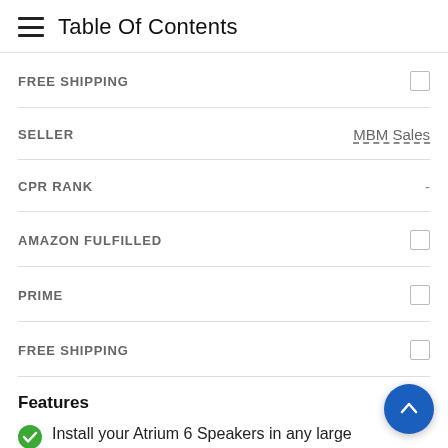Table Of Contents
FREE SHIPPING
SELLER	MBM Sales
CPR RANK	-
AMAZON FULFILLED
PRIME
FREE SHIPPING
Features
Install your Atrium 6 Speakers in any large open space – by a pool, in the patio, the